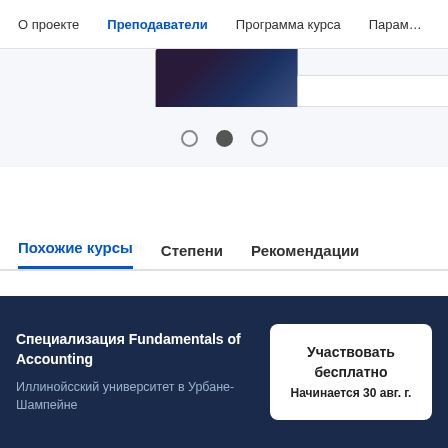О проекте   Преподаватели   Программа курса   Параме
[Figure (screenshot): Partial slider image showing a dark blue photo on the left and white panel on the right, with carousel dots below (open, filled, open)]
Похожие курсы   Степени   Рекомендации
Специализация Fundamentals of Accounting
Иллинойсский университет в Урбане-Шампейне
Участвовать бесплатно
Начинается 30 авг. г.